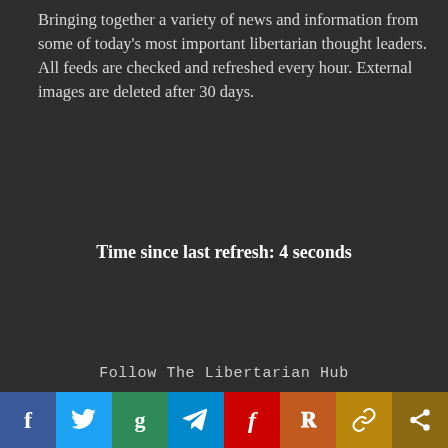Bringing together a variety of news and information from some of today's most important libertarian thought leaders. All feeds are checked and refreshed every hour. External images are deleted after 30 days.
Time since last refresh: 4 seconds
Follow The Libertarian Hub
[Figure (infographic): Social media sharing bar with icons for Facebook, Twitter, Gab, Telegram, MeWe, Parler, chain-link (link), and share. Each icon in a colored button strip at the bottom of the page.]